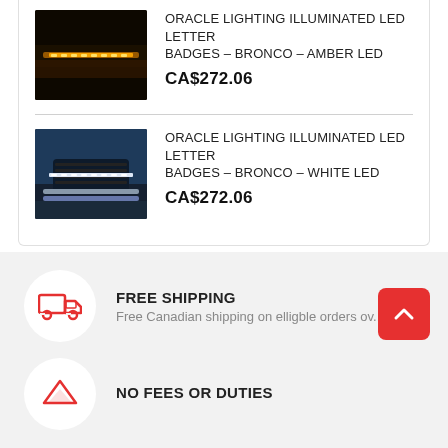[Figure (photo): Product photo of Oracle Lighting Illuminated LED Letter Badges for Bronco - Amber LED, showing amber LED lights on a vehicle grille]
ORACLE LIGHTING ILLUMINATED LED LETTER BADGES – BRONCO – AMBER LED
CA$272.06
[Figure (photo): Product photo of Oracle Lighting Illuminated LED Letter Badges for Bronco - White LED, showing white LED lights on a blue vehicle grille]
ORACLE LIGHTING ILLUMINATED LED LETTER BADGES – BRONCO – WHITE LED
CA$272.06
[Figure (illustration): Truck/delivery van icon inside a white circle, red outline, on grey background]
FREE SHIPPING
Free Canadian shipping on elligble orders ov...99
[Figure (illustration): Upward arrow/chevron icon inside a white circle, red outline, on grey background]
NO FEES OR DUTIES